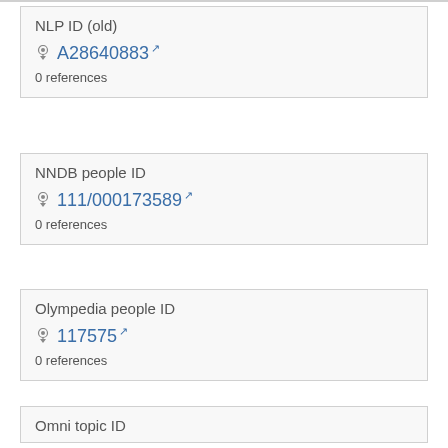NLP ID (old)
A28640883 [external link]
0 references
NNDB people ID
111/000173589 [external link]
0 references
Olympedia people ID
117575 [external link]
0 references
Omni topic ID
0277ce66ad3c3adbde007c9e8e034dfa030f587f [external link]
0 references